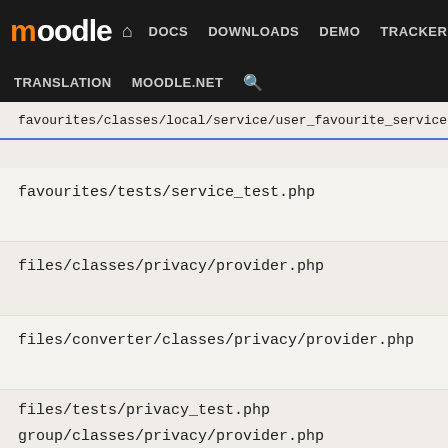moodle | DOCS DOWNLOADS DEMO TRACKER DEV | TRANSLATION MOODLE.NET
favourites/classes/local/service/user_favourite_service.php
favourites/tests/service_test.php
files/classes/privacy/provider.php
files/converter/classes/privacy/provider.php
files/tests/privacy_test.php
group/classes/privacy/provider.php